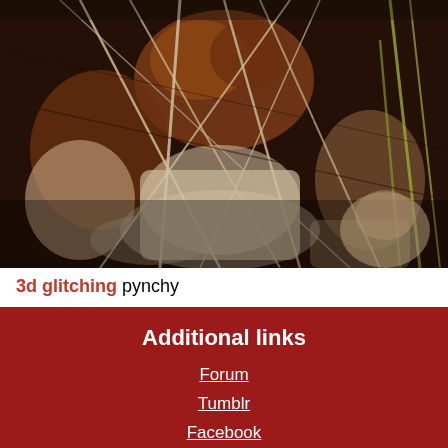[Figure (photo): Digital art image showing a complex 3D glitched sculpture or figure with organic forms, fiber-like strands, rods, and distorted textures in dark brown, tan, and muted colors against a dark background.]
3d glitching pynchy
Additional links
Forum
Tumblr
Facebook